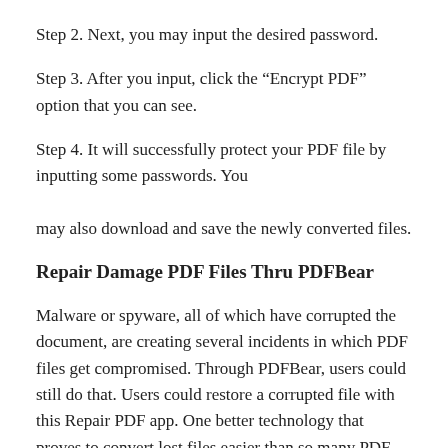Step 2. Next, you may input the desired password.
Step 3. After you input, click the “Encrypt PDF” option that you can see.
Step 4. It will successfully protect your PDF file by inputting some passwords. You may also download and save the newly converted files.
Repair Damage PDF Files Thru PDFBear
Malware or spyware, all of which have corrupted the document, are creating several incidents in which PDF files get compromised. Through PDFBear, users could still do that. Users could restore a corrupted file with this Repair PDF app. One better technology that proves to convert lost files easier than so many PDF websites helps this repair tool.